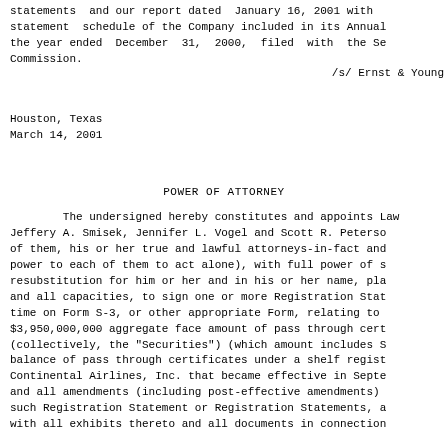statements  and our report dated  January 16, 2001 with statement  schedule of the Company included in its Annual the year ended  December  31,  2000,  filed  with  the Se Commission.
/s/ Ernst & Young
Houston, Texas
March 14, 2001
POWER OF ATTORNEY
The undersigned hereby constitutes and appoints Law Jeffery A. Smisek, Jennifer L. Vogel and Scott R. Peterso of them, his or her true and lawful attorneys-in-fact and power to each of them to act alone), with full power of s resubstitution for him or her and in his or her name, pla and all capacities, to sign one or more Registration Stat time on Form S-3, or other appropriate Form, relating to $3,950,000,000 aggregate face amount of pass through cert (collectively, the "Securities") (which amount includes S balance of pass through certificates under a shelf regist Continental Airlines, Inc. that became effective in Septe and all amendments (including post-effective amendments) such Registration Statement or Registration Statements, a with all exhibits thereto and all documents in connection